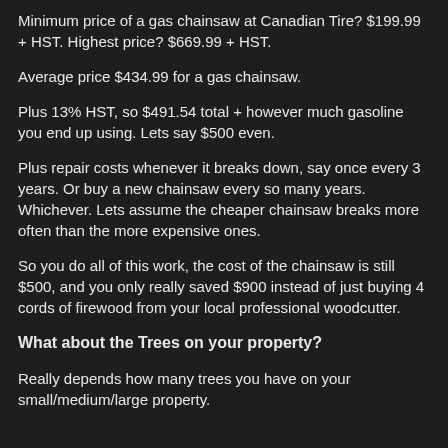Minimum price of a gas chainsaw at Canadian Tire? $199.99 + HST. Highest price? $669.99 + HST.
Average price $434.99 for a gas chainsaw.
Plus 13% HST, so $491.54 total + however much gasoline you end up using. Lets say $500 even.
Plus repair costs whenever it breaks down, say once every 3 years. Or buy a new chainsaw every so many years. Whichever. Lets assume the cheaper chainsaw breaks more often than the more expensive ones.
So you do all of this work, the cost of the chainsaw is still $500, and you only really saved $900 instead of just buying 4 cords of firewood from your local professional woodcutter.
What about the Trees on your property?
Really depends how many trees you have on your small/medium/large property.